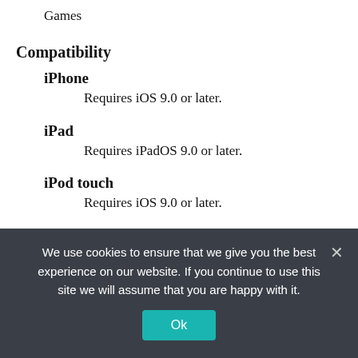Games
Compatibility
iPhone
Requires iOS 9.0 or later.
iPad
Requires iPadOS 9.0 or later.
iPod touch
Requires iOS 9.0 or later.
Languages
English
We use cookies to ensure that we give you the best experience on our website. If you continue to use this site we will assume that you are happy with it.